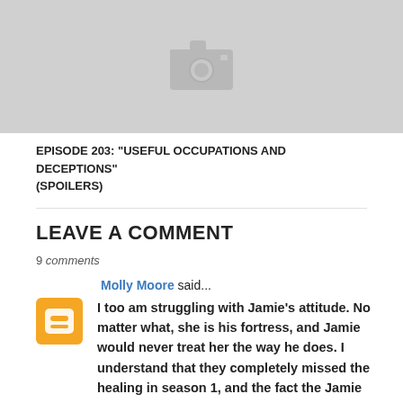[Figure (photo): Gray placeholder image with a camera icon]
EPISODE 203: "USEFUL OCCUPATIONS AND DECEPTIONS" (SPOILERS)
LEAVE A COMMENT
9 comments
Molly Moore said...
I too am struggling with Jamie's attitude. No matter what, she is his fortress, and Jamie would never treat her the way he does. I understand that they completely missed the healing in season 1, and the fact the Jamie tells her that he has a little leanto with a roof to keep out the rain, the whole a whole man because you, two hands to hold you with, serve you with, BUT this